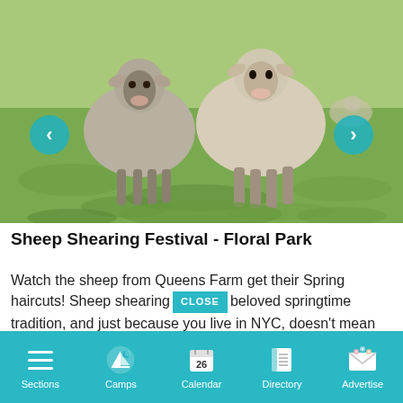[Figure (photo): Photograph of three sheep standing on grass at Queens Farm, with more sheep visible in the background. Navigation arrows (left and right) overlay the image in teal circles.]
Sheep Shearing Festival - Floral Park
Watch the sheep from Queens Farm get their Spring haircuts! Sheep shearing [CLOSE] beloved springtime tradition, and just because you live in NYC, doesn't mean you have to miss out on it. After the shearing,
Sections  Camps  Calendar  Directory  Advertise